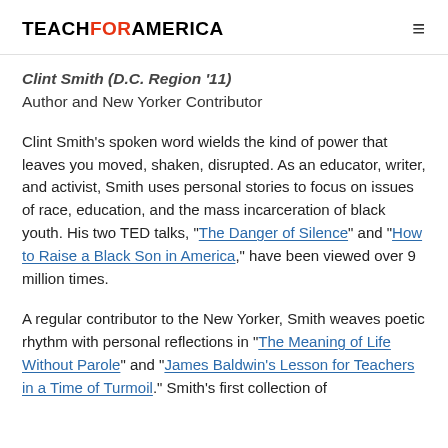TEACHFORAMERICA
Clint Smith (D.C. Region '11)
Author and New Yorker Contributor
Clint Smith's spoken word wields the kind of power that leaves you moved, shaken, disrupted. As an educator, writer, and activist, Smith uses personal stories to focus on issues of race, education, and the mass incarceration of black youth. His two TED talks, "The Danger of Silence" and "How to Raise a Black Son in America," have been viewed over 9 million times.
A regular contributor to the New Yorker, Smith weaves poetic rhythm with personal reflections in "The Meaning of Life Without Parole" and "James Baldwin's Lesson for Teachers in a Time of Turmoil." Smith's first collection of